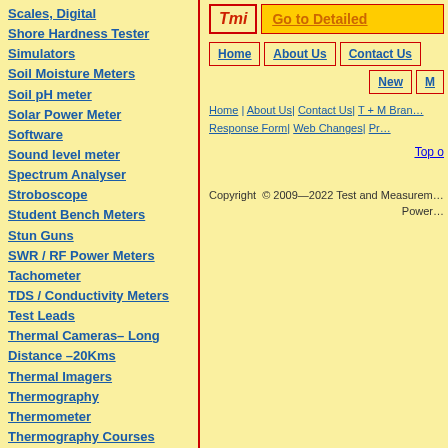Scales, Digital
Shore Hardness Tester
Simulators
Soil Moisture Meters
Soil pH meter
Solar Power Meter
Software
Sound level meter
Spectrum Analyser
Stroboscope
Student Bench Meters
Stun Guns
SWR / RF Power Meters
Tachometer
TDS / Conductivity Meters
Test Leads
Thermal Cameras– Long Distance –20Kms
Thermal Imagers
Thermography
Thermometer
Thermography Courses
Thickness Testers
Tone Generator/ Tracer
Tools - Hydraulic Crimp
Torque meter
[Figure (logo): TMI logo in red italic text inside a red-bordered box]
Go to Detailed
Home | About Us | Contact Us | New | M
Home | About Us| Contact Us| T + M Brand| Response Form| Web Changes| Pr
Top o
Copyright © 2009—2022 Test and Measurem
Power